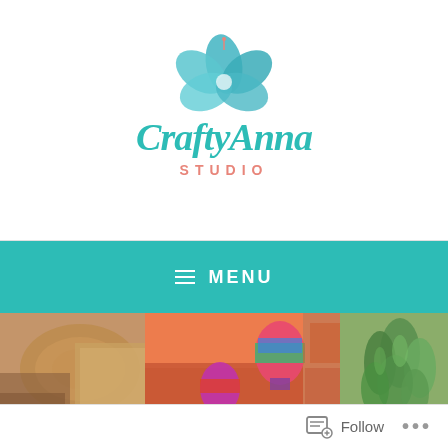[Figure (logo): CraftyAnna Studio logo with teal hibiscus flower and teal script lettering 'CraftyAnna' with salmon/coral 'STUDIO' underneath]
[Figure (other): Teal navigation bar with hamburger menu icon and 'MENU' text in white capital letters]
[Figure (photo): Photo strip showing crafting-related images: wood slices, colorful hot air balloon watercolor painting, orange/brown textured background, and green succulent plant]
[Figure (other): Bottom bar with Follow button (reader icon) and three-dot menu]